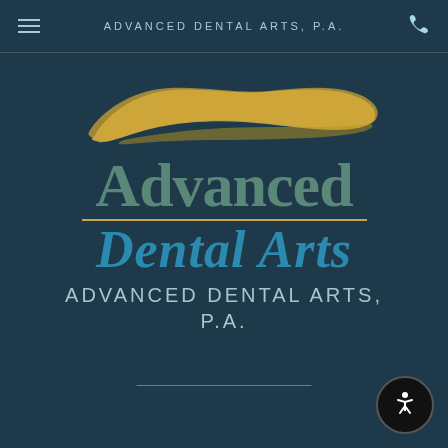ADVANCED DENTAL ARTS, P.A.
[Figure (logo): Advanced Dental Arts logo with gold brushstroke above, 'Advanced' in sage green serif, gold underline, 'Dental Arts' in blue italic serif, and 'ADVANCED DENTAL ARTS, P.A.' in light blue spaced caps below]
ADVANCED DENTAL ARTS, P.A.